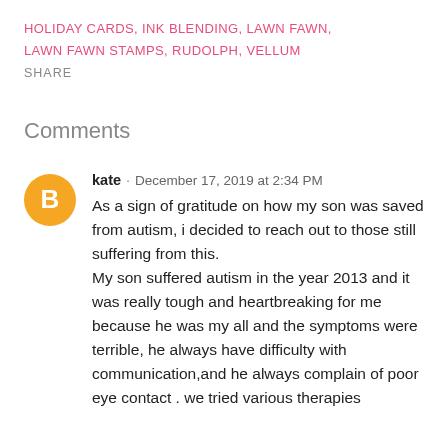HOLIDAY CARDS, INK BLENDING, LAWN FAWN, LAWN FAWN STAMPS, RUDOLPH, VELLUM
SHARE
Comments
kate · December 17, 2019 at 2:34 PM
As a sign of gratitude on how my son was saved from autism, i decided to reach out to those still suffering from this.
My son suffered autism in the year 2013 and it was really tough and heartbreaking for me because he was my all and the symptoms were terrible, he always have difficulty with communication,and he always complain of poor eye contact . we tried various therapies